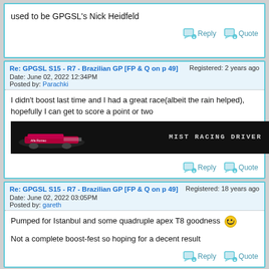used to be GPGSL's Nick Heidfeld
Reply   Quote
Re: GPGSL S15 - R7 - Brazilian GP [FP & Q on p 49]   Registered: 2 years ago
Date: June 02, 2022 12:34PM
Posted by: Parachki
I didn't boost last time and I had a great race(albeit the rain helped), hopefully I can get to score a point or two
[Figure (photo): Forum signature banner showing a Formula 1 car on dark background with text 'MIST RACING DRIVER']
Reply   Quote
Re: GPGSL S15 - R7 - Brazilian GP [FP & Q on p 49]   Registered: 18 years ago
Date: June 02, 2022 03:05PM
Posted by: gareth
Pumped for Istanbul and some quadruple apex T8 goodness
Not a complete boost-fest so hoping for a decent result
Reply   Quote